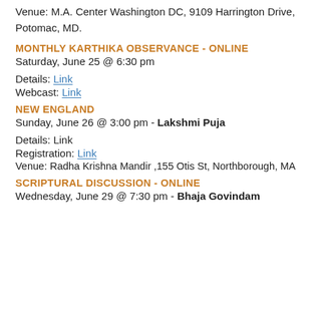Venue: M.A. Center Washington DC, 9109 Harrington Drive, Potomac, MD.
MONTHLY KARTHIKA OBSERVANCE - ONLINE
Saturday, June 25 @ 6:30 pm
Details: Link
Webcast: Link
NEW ENGLAND
Sunday, June 26 @ 3:00 pm - Lakshmi Puja
Details: Link
Registration: Link
Venue: Radha Krishna Mandir ,155 Otis St, Northborough, MA
SCRIPTURAL DISCUSSION - ONLINE
Wednesday, June 29 @ 7:30 pm - Bhaja Govindam